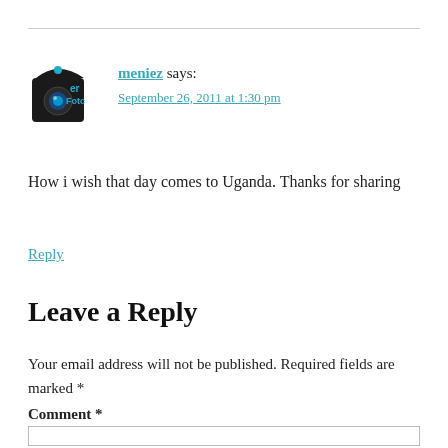[Figure (logo): Avatar/logo image for user meniez — appears to be a camera-themed logo with text 'er Foto' in teal/black]
meniez says:
September 26, 2011 at 1:30 pm
How i wish that day comes to Uganda. Thanks for sharing
Reply
Leave a Reply
Your email address will not be published. Required fields are marked *
Comment *